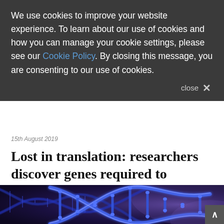We use cookies to improve your website experience. To learn about our use of cookies and how you can manage your cookie settings, please see our Cookie Policy. By closing this message, you are consenting to our use of cookies.
close X
15th August 2019
Lost in translation: researchers discover genes required to translate the genetic code may play a role in disease
[Figure (photo): Close-up illustration of glowing blue DNA double helix structures on a dark purple/navy background]